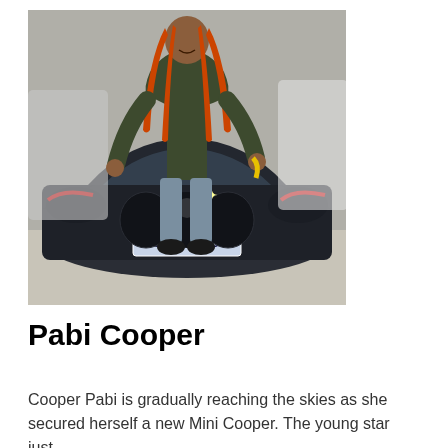[Figure (photo): A woman with long braided red/orange hair wearing a dark olive green hoodie and light blue jeans stands leaning against a dark blue/black BMW car in a showroom. The car has a South African license plate reading '66 66 66 GP'. Other white cars are visible in the background.]
Pabi Cooper
Cooper Pabi is gradually reaching the skies as she secured herself a new Mini Cooper. The young star just